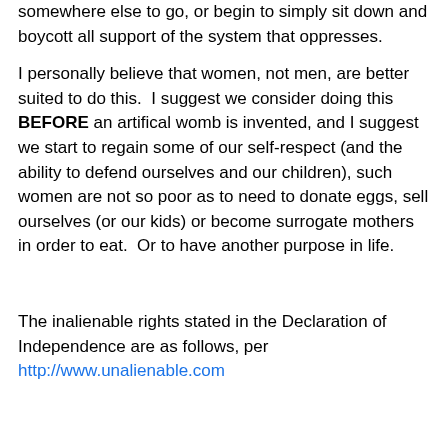somewhere else to go, or begin to simply sit down and boycott all support of the system that oppresses.
I personally believe that women, not men, are better suited to do this.  I suggest we consider doing this BEFORE an artifical womb is invented, and I suggest we start to regain some of our self-respect (and the ability to defend ourselves and our children), such women are not so poor as to need to donate eggs, sell ourselves (or our kids) or become surrogate mothers in order to eat.  Or to have another purpose in life.
The inalienable rights stated in the Declaration of Independence are as follows, per http://www.unalienable.com